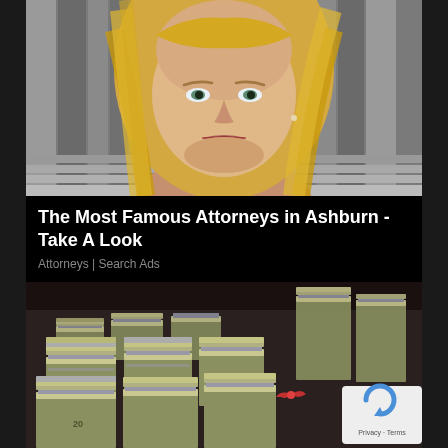[Figure (photo): Close-up portrait of a blonde woman in professional attire standing in front of stone columns, suggesting a courthouse or legal building background.]
The Most Famous Attorneys in Ashburn - Take A Look
Attorneys | Search Ads
[Figure (photo): Large stacks of bundled US dollar bills ($20 bills) piled on a surface, with a reCAPTCHA privacy badge visible in the bottom right corner showing 'Privacy - Terms'.]